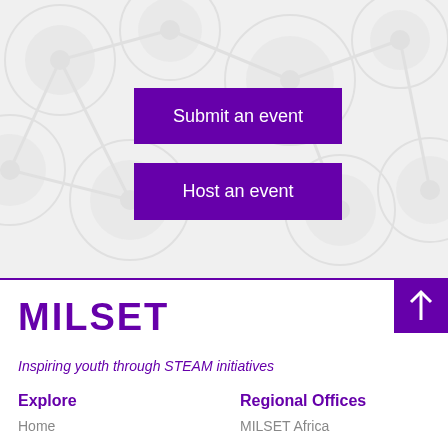[Figure (illustration): Light grey background with molecular/circle network pattern made of overlapping circles and connecting shapes]
Submit an event
Host an event
MILSET
Inspiring youth through STEAM initiatives
Explore
Regional Offices
Home
MILSET Africa